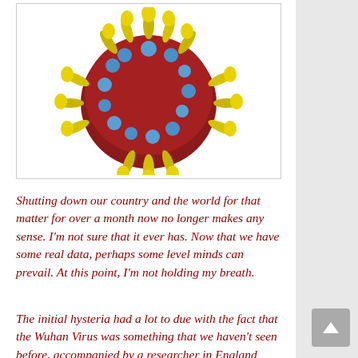[Figure (illustration): 3D rendered illustration of a coronavirus particle with red spherical body, yellow spike proteins, and blue surface proteins on white background inside a bordered box]
Shutting down our country and the world for that matter for over a month now no longer makes any sense. I'm not sure that it ever has. Now that we have some real data, perhaps some level minds can prevail. At this point, I'm not holding my breath.
The initial hysteria had a lot to due with the fact that the Wuhan Virus was something that we haven't seen before, accompanied by a researcher in England issuing the...